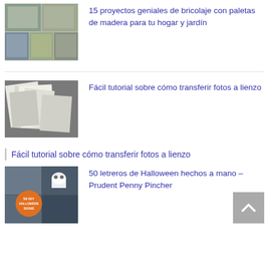[Figure (photo): Collage of DIY pallet wood furniture projects for home and garden]
15 proyectos geniales de bricolaje con paletas de madera para tu hogar y jardín
[Figure (photo): Black and white photos on a wooden surface, photo transfer tutorial]
Fácil tutorial sobre cómo transferir fotos a lienzo
Fácil tutorial sobre cómo transferir fotos a lienzo
[Figure (photo): Halloween signs collage with ghost and pumpkin decorations, 50 DIY Halloween signs]
50 letreros de Halloween hechos a mano – Prudent Penny Pincher